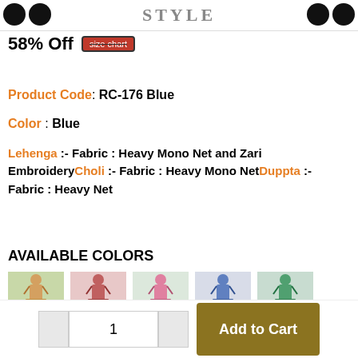STYLE
58% Off  size chart
Product Code: RC-176 Blue
Color : Blue
Lehenga :- Fabric : Heavy Mono Net and Zari EmbroideryCholi :- Fabric : Heavy Mono NetDuppta :- Fabric : Heavy Net
AVAILABLE COLORS
[Figure (photo): Five color variant thumbnails of a lehenga outfit shown on a mannequin]
1  Add to Cart